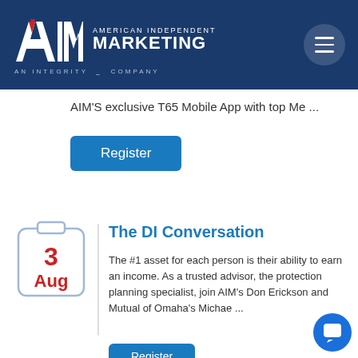[Figure (logo): AIM American Independent Marketing logo on dark blue header with hamburger menu]
AIM'S exclusive T65 Mobile App with top Me ...
Register
[Figure (illustration): Calendar icon showing 3 Aug]
The DI Conversation
The #1 asset for each person is their ability to earn an income. As a trusted advisor, the protection planning specialist, join AIM's Don Erickson and Mutual of Omaha's Michae ...